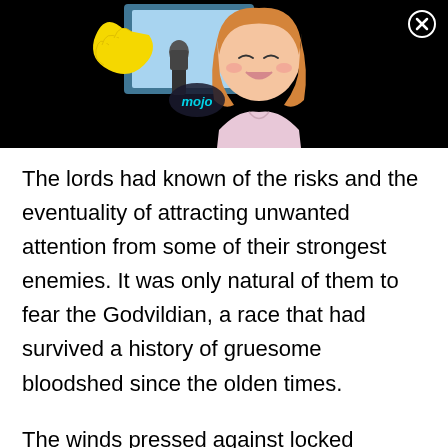[Figure (illustration): Anime-style illustration of a girl singing into a microphone with a yellow hand/glove visible, on a dark background. A circular 'mojo' logo watermark is visible in the lower left of the image. A close/X button appears in the top right corner of the black bar.]
The lords had known of the risks and the eventuality of attracting unwanted attention from some of their strongest enemies. It was only natural of them to fear the Godvildian, a race that had survived a history of gruesome bloodshed since the olden times.
The winds pressed against locked windows, and the lords seated at the round table rested their eyes one after the other upon a chair left